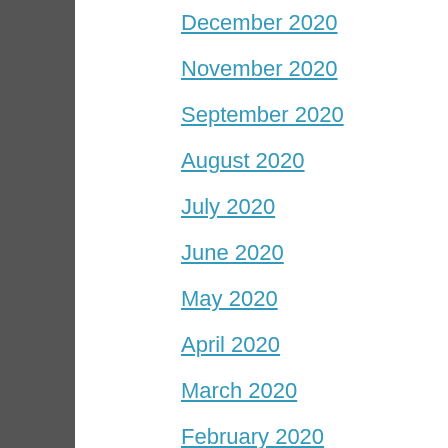December 2020
November 2020
September 2020
August 2020
July 2020
June 2020
May 2020
April 2020
March 2020
February 2020
January 2020
December 2019
November 2019
October 2019
September 2019
August 2019